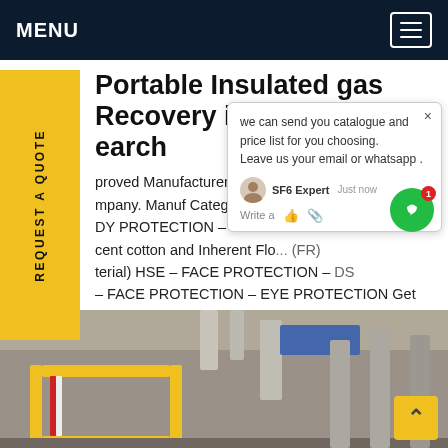MENU
Portable Insulated gas Recovery in East Timor - earch
proved Manufacturers. Search M... S.. mpany. Manuf Categories. Manuf H... DY PROTECTION - SAFETY WINTER... 00 cent cotton and Inherent Flo... (FR) terial) HSE - FACE PROTECTION - DS - FACE PROTECTION - EYE PROTECTION Get ce
[Figure (screenshot): Chat popup overlay with message: we can send you catalogue and price list for you choosing. Leave us your email or whatsapp. SF6 Expert agent shown.]
[Figure (photo): Bottom photo showing industrial equipment with yellow-framed structures/signage and pipes in background.]